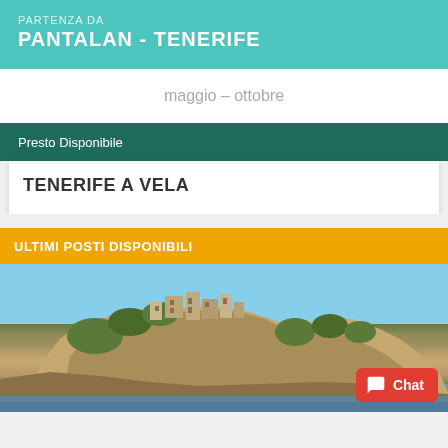PARTENZA DA
PANTALAN - TENERIFE
maggio - ottobre
Presto Disponibile
TENERIFE A VELA
ULTIMI POSTI DISPONIBILI
[Figure (photo): Aerial/side view of a large rocky castle or fortress on a cliff by the sea, Mediterranean landscape with blue sky]
Chat